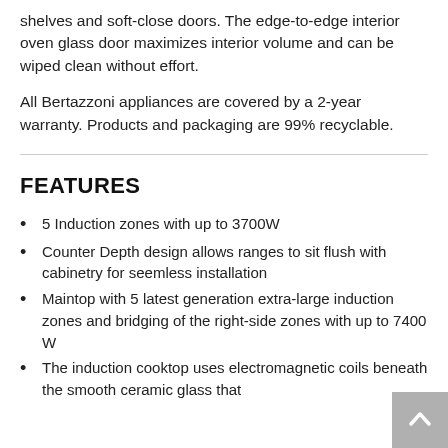shelves and soft-close doors. The edge-to-edge interior oven glass door maximizes interior volume and can be wiped clean without effort.
All Bertazzoni appliances are covered by a 2-year warranty. Products and packaging are 99% recyclable.
FEATURES
5 Induction zones with up to 3700W
Counter Depth design allows ranges to sit flush with cabinetry for seemless installation
Maintop with 5 latest generation extra-large induction zones and bridging of the right-side zones with up to 7400 W
The induction cooktop uses electromagnetic coils beneath the smooth ceramic glass that